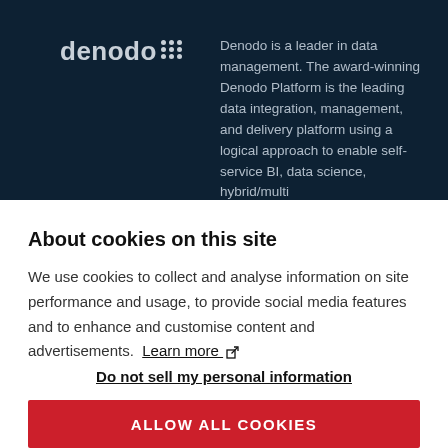[Figure (logo): Denodo logo with stylized dots on dark navy background]
Denodo is a leader in data management. The award-winning Denodo Platform is the leading data integration, management, and delivery platform using a logical approach to enable self-service BI, data science, hybrid/multi...
About cookies on this site
We use cookies to collect and analyse information on site performance and usage, to provide social media features and to enhance and customise content and advertisements. Learn more
Do not sell my personal information
ALLOW ALL COOKIES